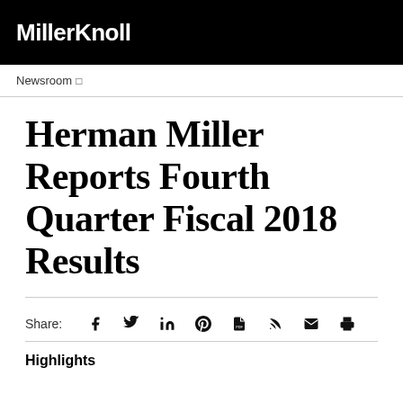MillerKnoll
Newsroom
Herman Miller Reports Fourth Quarter Fiscal 2018 Results
Share:
Highlights